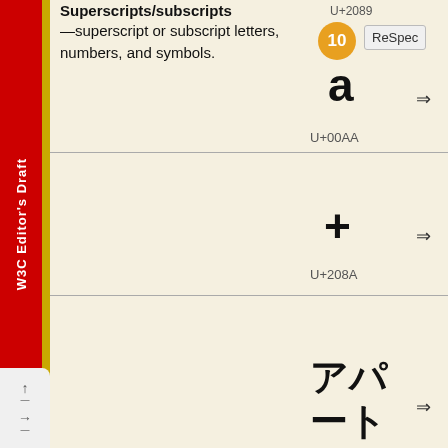Superscripts/subscripts
—superscript or subscript letters, numbers, and symbols.
[Figure (screenshot): Unicode character example: U+2089, orange badge with '10', ReSpec button, character 'a', arrow symbol]
U+00AA
[Figure (screenshot): Unicode character example: plus sign '+', arrow symbol, U+208A label]
U+208A
[Figure (screenshot): Unicode character example: Japanese katakana 'アパート', arrow symbol, U+3300 label]
U+3300